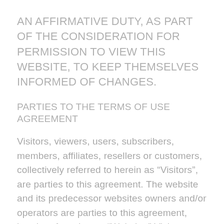AN AFFIRMATIVE DUTY, AS PART OF THE CONSIDERATION FOR PERMISSION TO VIEW THIS WEBSITE, TO KEEP THEMSELVES INFORMED OF CHANGES.
PARTIES TO THE TERMS OF USE AGREEMENT
Visitors, viewers, users, subscribers, members, affiliates, resellers or customers, collectively referred to herein as “Visitors”, are parties to this agreement. The website and its predecessor websites owners and/or operators are parties to this agreement, herein referred to as “Website.” Visitors